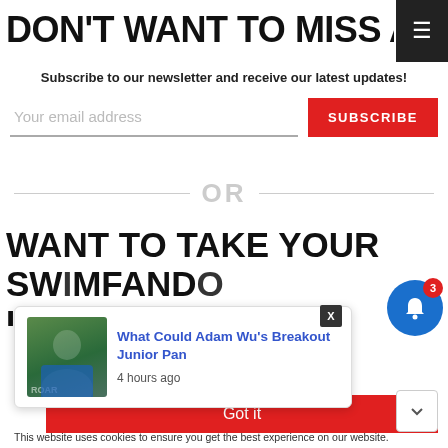DON'T WANT TO MISS ANYTHING
Subscribe to our newsletter and receive our latest updates!
[Figure (screenshot): Email subscription form with input field and red SUBSCRIBE button]
OR
WANT TO TAKE YOUR SWIMFANDOM TO THE NEXT LEVEL?
[Figure (screenshot): Popup notification card showing article 'What Could Adam Wu's Breakout Junior Pan' with thumbnail photo and timestamp '4 hours ago']
[Figure (screenshot): Blue bell notification icon with red badge showing number 3]
Got it
This website uses cookies to ensure you get the best experience on our website.